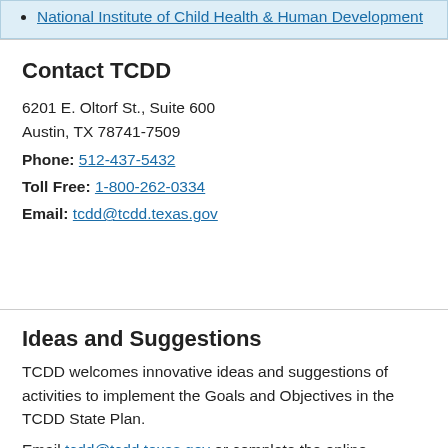National Institute of Child Health & Human Development
Contact TCDD
6201 E. Oltorf St., Suite 600
Austin, TX 78741-7509
Phone: 512-437-5432
Toll Free: 1-800-262-0334
Email: tcdd@tcdd.texas.gov
Ideas and Suggestions
TCDD welcomes innovative ideas and suggestions of activities to implement the Goals and Objectives in the TCDD State Plan.
Email tcdd@tcdd.texas.gov or complete the online feedback form to